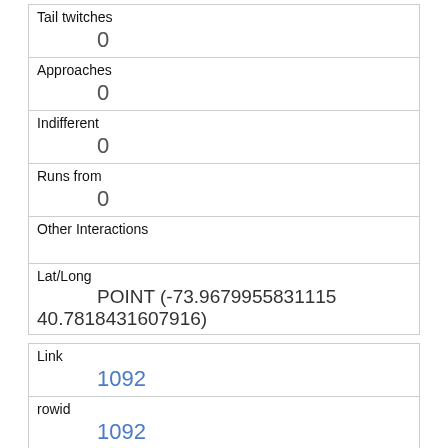| Tail twitches | 0 |
| Approaches | 0 |
| Indifferent | 0 |
| Runs from | 0 |
| Other Interactions |  |
| Lat/Long | POINT (-73.9679955831115 40.7818431607916) |
| Link | 1092 |
| rowid | 1092 |
| longitude | -73.9711319254625 |
| latitude | 40.77603234859879 |